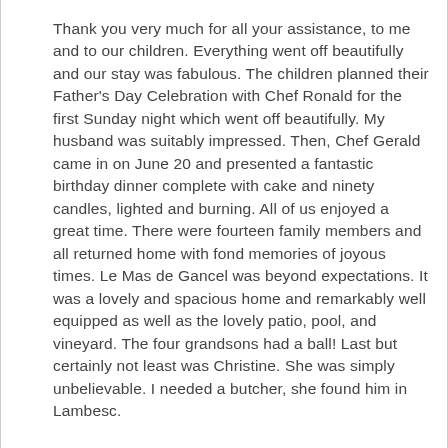Thank you very much for all your assistance, to me and to our children. Everything went off beautifully and our stay was fabulous. The children planned their Father's Day Celebration with Chef Ronald for the first Sunday night which went off beautifully. My husband was suitably impressed. Then, Chef Gerald came in on June 20 and presented a fantastic birthday dinner complete with cake and ninety candles, lighted and burning. All of us enjoyed a great time. There were fourteen family members and all returned home with fond memories of joyous times. Le Mas de Gancel was beyond expectations. It was a lovely and spacious home and remarkably well equipped as well as the lovely patio, pool, and vineyard. The four grandsons had a ball! Last but certainly not least was Christine. She was simply unbelievable. I needed a butcher, she found him in Lambesc.